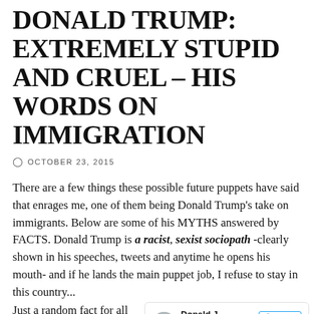DONALD TRUMP: EXTREMELY STUPID AND CRUEL – HIS WORDS ON IMMIGRATION
OCTOBER 23, 2015
There are a few things these possible future puppets have said that enrages me, one of them being Donald Trump's take on immigrants. Below are some of his MYTHS answered by FACTS. Donald Trump is a racist, sexist sociopath -clearly shown in his speeches, tweets and anytime he opens his mouth- and if he lands the main puppet job, I refuse to stay in this country...
Just a random fact for all to
[Figure (screenshot): Embedded tweet from Donald J. Trump (@realDonaldTrump) with verified badge, gear icon, and Follow button. Tweet text reads: 'Sadly, because president Obama has done such a poor job as president, you won't see']